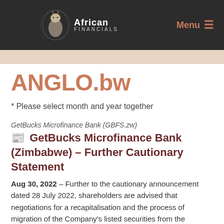African Financials | Menu
ANGLO.bw
* Please select month and year together
GetBucks Microfinance Bank (GBFS.zw)
GetBucks Microfinance Bank (Zimbabwe) – Further Cautionary Statement
Aug 30, 2022 – Further to the cautionary announcement dated 28 July 2022, shareholders are advised that negotiations for a recapitalisation and the process of migration of the Company's listed securities from the Zimbabwe Stock Exchange to the Victoria Falls Stock Exchange are both still in